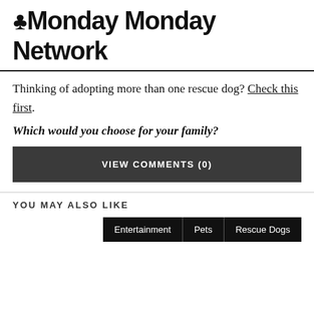#Monday Monday Network
Thinking of adopting more than one rescue dog? Check this first.
Which would you choose for your family?
VIEW COMMENTS (0)
YOU MAY ALSO LIKE
Entertainment  Pets  Rescue Dogs